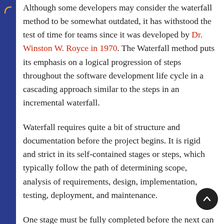Although some developers may consider the waterfall method to be somewhat outdated, it has withstood the test of time for teams since it was developed by Dr. Winston W. Royce in 1970. The Waterfall method puts its emphasis on a logical progression of steps throughout the software development life cycle in a cascading approach similar to the steps in an incremental waterfall.
Waterfall requires quite a bit of structure and documentation before the project begins. It is rigid and strict in its self-contained stages or steps, which typically follow the path of determining scope, analysis of requirements, design, implementation, testing, deployment, and maintenance.
One stage must be fully completed before the next can